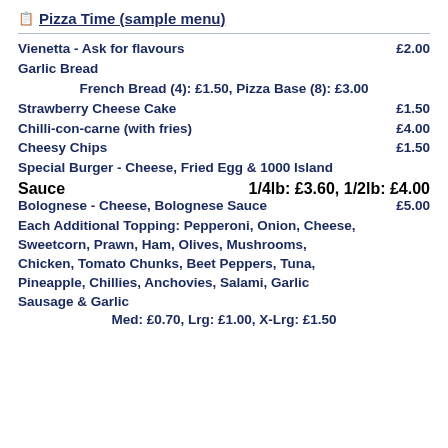Pizza Time (sample menu)
Vienetta - Ask for flavours   £2.00
Garlic Bread
  French Bread (4): £1.50, Pizza Base (8): £3.00
Strawberry Cheese Cake   £1.50
Chilli-con-carne (with fries)   £4.00
Cheesy Chips   £1.50
Special Burger - Cheese, Fried Egg & 1000 Island Sauce   1/4lb: £3.60, 1/2lb: £4.00
Bolognese - Cheese, Bolognese Sauce   £5.00
Each Additional Topping: Pepperoni, Onion, Cheese, Sweetcorn, Prawn, Ham, Olives, Mushrooms, Chicken, Tomato Chunks, Beet Peppers, Tuna, Pineapple, Chillies, Anchovies, Salami, Garlic Sausage & Garlic
  Med: £0.70, Lrg: £1.00, X-Lrg: £1.50